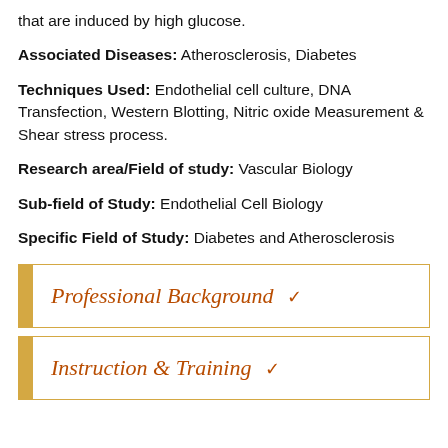that are induced by high glucose.
Associated Diseases: Atherosclerosis, Diabetes
Techniques Used: Endothelial cell culture, DNA Transfection, Western Blotting, Nitric oxide Measurement & Shear stress process.
Research area/Field of study: Vascular Biology
Sub-field of Study: Endothelial Cell Biology
Specific Field of Study: Diabetes and Atherosclerosis
Professional Background
Instruction & Training